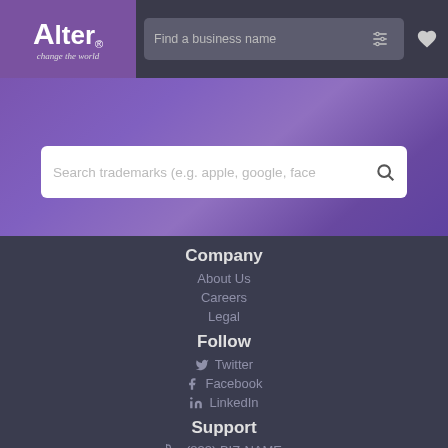[Figure (logo): Alter logo with purple background, text 'Alter' with registered trademark, tagline 'change the world']
[Figure (screenshot): Header search bar with 'Find a business name' placeholder, filter icon, and heart icon on dark background]
[Figure (screenshot): Purple banner section with search box placeholder 'Search trademarks (e.g. apple, google, face' and search icon]
Company
About Us
Careers
Legal
Follow
Twitter
Facebook
LinkedIn
Support
(833) BIZ-NAME
support@alter.com